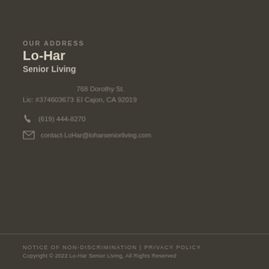OUR ADDRESS
Lo-Har
Senior Living
Lic: #374603673
768 Dorothy St.
El Cajon, CA 92019
(619) 444-8270
contact-LoHar@loharseniorliving.com
NOTICE OF NON-DISCRIMINATION | PRIVACY POLICY
Copyright © 2022 Lo-Har Senior Living, All Rights Reserved